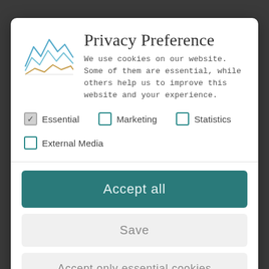[Figure (logo): Mountain landscape line art logo with blue and orange lines]
Privacy Preference
We use cookies on our website. Some of them are essential, while others help us to improve this website and your experience.
Essential (checked)
Marketing (unchecked)
Statistics (unchecked)
External Media (unchecked)
Accept all
Save
Accept only essential cookies
Individual Privacy Preferences
Cookie Details | Privacy Policy